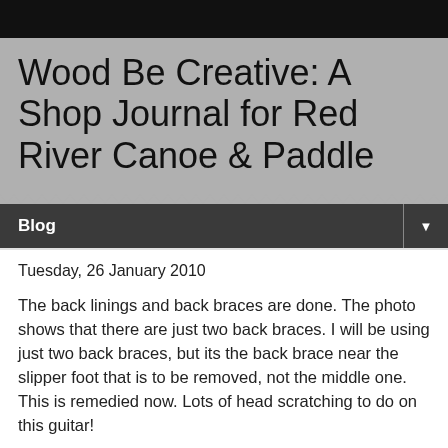Wood Be Creative: A Shop Journal for Red River Canoe & Paddle
Blog
Tuesday, 26 January 2010
The back linings and back braces are done. The photo shows that there are just two back braces. I will be using just two back braces, but its the back brace near the slipper foot that is to be removed, not the middle one. This is remedied now. Lots of head scratching to do on this guitar!
I have decided that, before I close up the back on the FE17-ish guitar, that I need to have the bridge and the fingerboard made. This is because of the Tornavoz. You can see it sitting